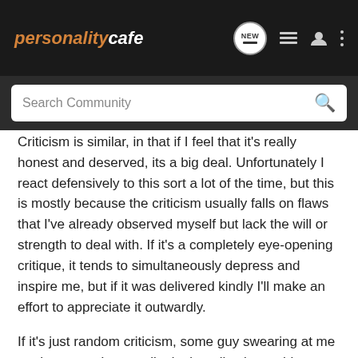personality cafe — navigation bar with search
Criticism is similar, in that if I feel that it's really honest and deserved, its a big deal. Unfortunately I react defensively to this sort a lot of the time, but this is mostly because the criticism usually falls on flaws that I've already observed myself but lack the will or strength to deal with. If it's a completely eye-opening critique, it tends to simultaneously depress and inspire me, but if it was delivered kindly I'll make an effort to appreciate it outwardly.

If it's just random criticism, some guy swearing at me on the street, I generally don't really give a shit.
badgers, Zhera, Rift and 1 other person